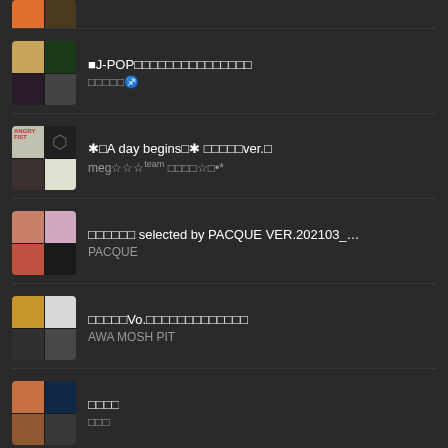■J-POP□□□□□□□□□□□□□□□
□□□□□♐
✱□A day begins□✱ □□□□□ver.□
meg☆☆☆team □□□□☆□•*
□□□□□□ selected by PACQUE VER.202103_WE...
PACQUE
□□□□□Vo.□□□□□□□□□□□□□
AWA MOSH PIT
□□□□
□□□